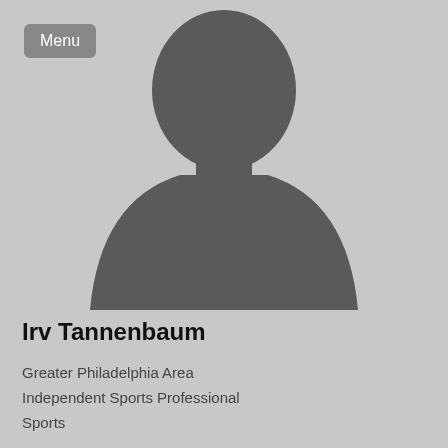[Figure (photo): Default silhouette placeholder profile photo showing a generic person outline in dark gray on a light gray background]
Irv Tannenbaum
Greater Philadelphia Area
Independent Sports Professional
Sports